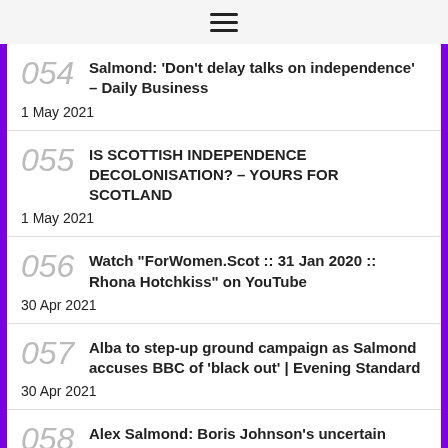☰
054 Salmond: 'Don't delay talks on independence' – Daily Business
1 May 2021
055 IS SCOTTISH INDEPENDENCE DECOLONISATION? – YOURS FOR SCOTLAND
1 May 2021
056 Watch "ForWomen.Scot :: 31 Jan 2020 :: Rhona Hotchkiss" on YouTube
30 Apr 2021
057 Alba to step-up ground campaign as Salmond accuses BBC of 'black out' | Evening Standard
30 Apr 2021
058 Alex Salmond: Boris Johnson's uncertain future means now is time for indy push | The National
1 May 2021